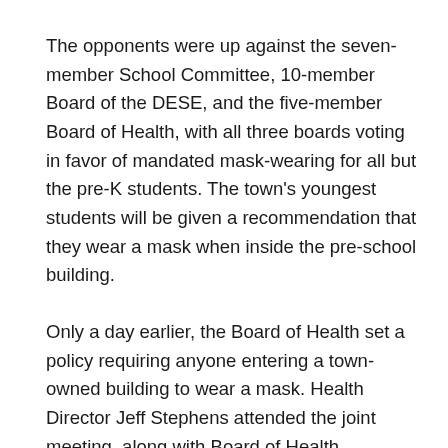The opponents were up against the seven- member School Committee, 10-member Board of the DESE, and the five-member Board of Health, with all three boards voting in favor of mandated mask-wearing for all but the pre-K students. The town's youngest students will be given a recommendation that they wear a mask when inside the pre-school building.
Only a day earlier, the Board of Health set a policy requiring anyone entering a town-owned building to wear a mask. Health Director Jeff Stephens attended the joint meeting, along with Board of Health members.